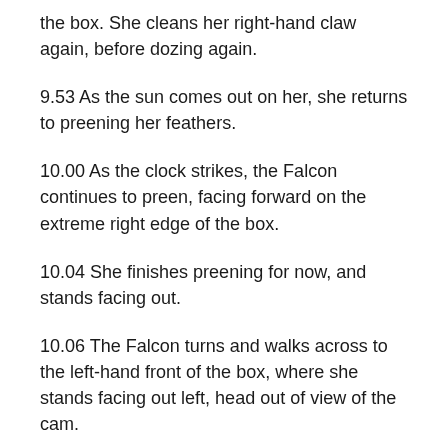the box. She cleans her right-hand claw again, before dozing again.
9.53 As the sun comes out on her, she returns to preening her feathers.
10.00 As the clock strikes, the Falcon continues to preen, facing forward on the extreme right edge of the box.
10.04 She finishes preening for now, and stands facing out.
10.06 The Falcon turns and walks across to the left-hand front of the box, where she stands facing out left, head out of view of the cam.
10.13 She is preening her wings in the